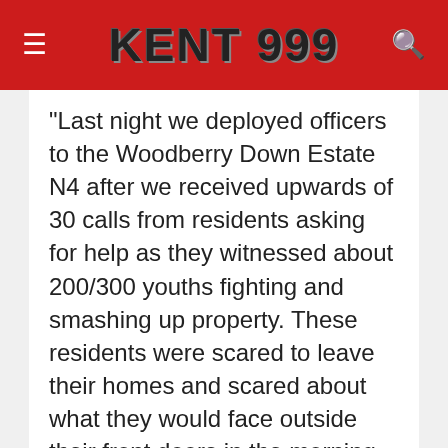KENT 999
“Last night we deployed officers to the Woodberry Down Estate N4 after we received upwards of 30 calls from residents asking for help as they witnessed about 200/300 youths fighting and smashing up property. These residents were scared to leave their homes and scared about what they would face outside their front doors in the morning.
https://www.youtube.com/watch?v=boVtGTISWwM
It is always an anxious moment for us as we deploy our officers into such situations but I draw confidence from my knowledge of the outstanding training they receive. As I waited for news last night